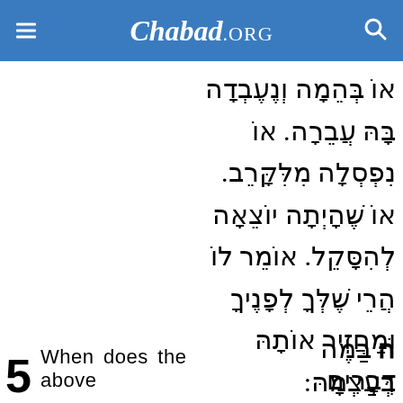Chabad.ORG
או בהמה ונעבדה בה עברה. או נפסלה מלקרב. או שהיתה יוצאה להסקל. אומר לו הרי שלך לפניך ומחזיר אותה בעצמה:
5 When does the above
ה במה דברים